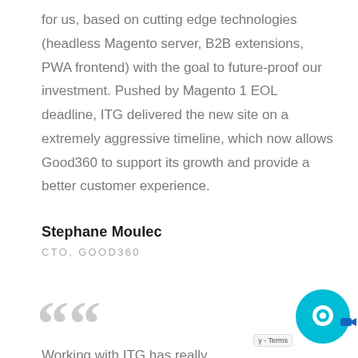for us, based on cutting edge technologies (headless Magento server, B2B extensions, PWA frontend) with the goal to future-proof our investment. Pushed by Magento 1 EOL deadline, ITG delivered the new site on a extremely aggressive timeline, which now allows Good360 to support its growth and provide a better customer experience.
Stephane Moulec
CTO, GOOD360
““
Working with ITG has really...